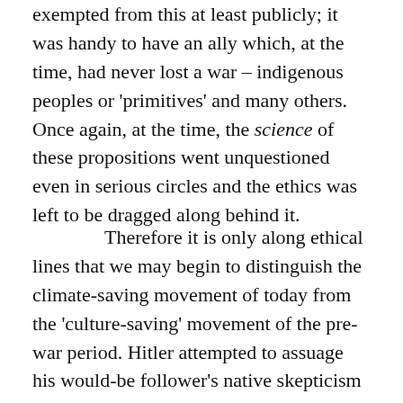exempted from this at least publicly; it was handy to have an ally which, at the time, had never lost a war – indigenous peoples or 'primitives' and many others. Once again, at the time, the science of these propositions went unquestioned even in serious circles and the ethics was left to be dragged along behind it.
Therefore it is only along ethical lines that we may begin to distinguish the climate-saving movement of today from the 'culture-saving' movement of the pre-war period. Hitler attempted to assuage his would-be follower's native skepticism by assuring them that he would rather do anything else, but that this had to be done and he was the only one who could do it. This too should sound uncomfortably